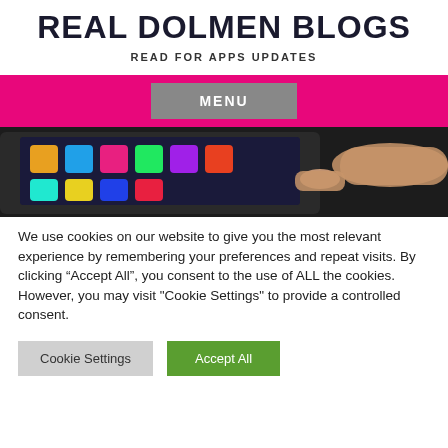REAL DOLMEN BLOGS
READ FOR APPS UPDATES
[Figure (screenshot): Navigation bar with pink/magenta background and a grey MENU button in the center]
[Figure (photo): Close-up photo of a hand touching a smartphone or tablet screen with colorful app icons visible]
We use cookies on our website to give you the most relevant experience by remembering your preferences and repeat visits. By clicking “Accept All”, you consent to the use of ALL the cookies. However, you may visit "Cookie Settings" to provide a controlled consent.
Cookie Settings | Accept All